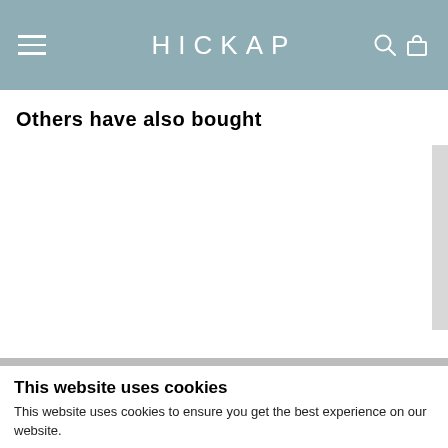HICKAP
Others have also bought
This website uses cookies
This website uses cookies to ensure you get the best experience on our website.
OK
Settings